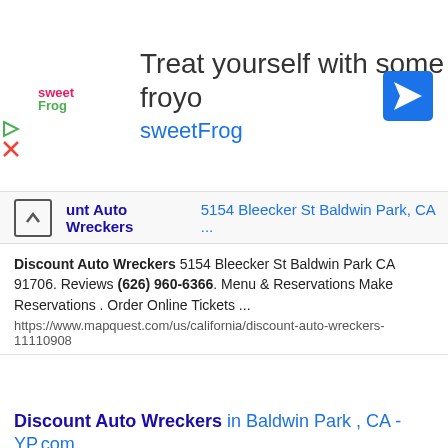[Figure (screenshot): sweetFrog advertisement banner with logo, 'Treat yourself with some froyo sweetFrog' text, and navigation arrow icon]
Discount Auto Wreckers 5154 Bleecker St Baldwin Park, CA ...
Discount Auto Wreckers 5154 Bleecker St Baldwin Park CA 91706. Reviews (626) 960-6366. Menu & Reservations Make Reservations . Order Online Tickets ...
https://www.mapquest.com/us/california/discount-auto-wreckers-11110908
Discount Auto Wreckers in Baldwin Park , CA - YP.com
Get reviews, hours, directions, coupons and more for Discount Auto Wreckers at 5154 Bleecker St, Baldwin Park, CA. Search for other Truck Wrecking in Baldwin Park on YP.com. Start your search by typing in the business name below.
https://www.yellowpages.com/baldwin-park-ca/mip/discount-auto-wreckers-2692698
Discount Auto Wreckers - Baldwin Park, CA - Yelp
(626) 960-6366 Discount Auto Wreckers Unclaimed This business has not yet been claimed by the owner or a representative. Claim this business ...
https://www.yelp.com/biz/discount-auto-wreckers-baldwin-park